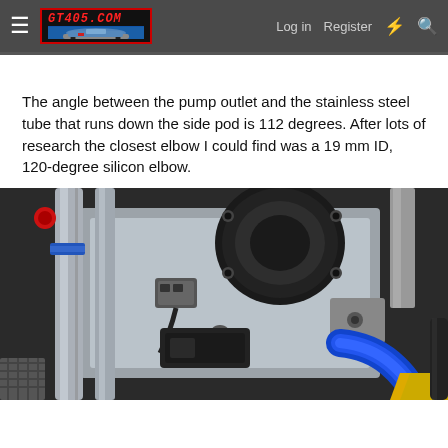GT405.COM — Log in  Register
The angle between the pump outlet and the stainless steel tube that runs down the side pod is 112 degrees. After lots of research the closest elbow I could find was a 19 mm ID, 120-degree silicon elbow.
[Figure (photo): Close-up photo of a motorsport vehicle's pump area showing stainless steel tubes, black cylindrical pump body with mounting bolts, grey electrical connector, blue silicone hose elbow, and yellow bodywork visible at edge. Various hoses and wiring in a cramped engine bay area.]